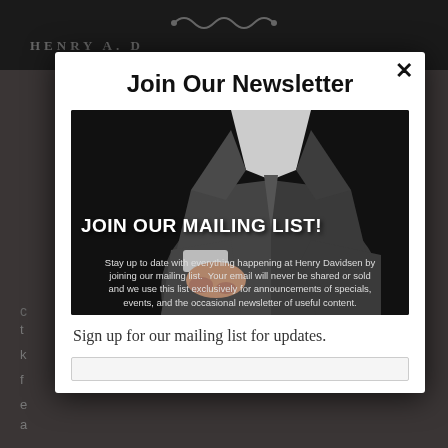Join Our Newsletter
[Figure (photo): Man in grey suit adjusting cufflinks on dark background, with text overlay 'JOIN OUR MAILING LIST!' and description text about staying up to date with Henry Davidsen.]
Stay up to date with everything happening at Henry Davidsen by joining our mailing list. Your email will never be shared or sold and we use this list exclusively for announcements of specials, events, and the occasional newsletter of useful content.
Sign up for our mailing list for updates.